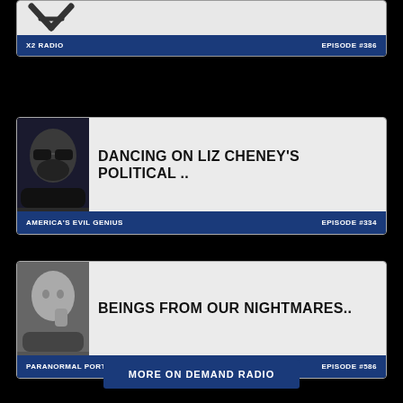[Figure (screenshot): Top partial card showing X2 Radio logo (stylized X) with blue footer bar]
X2 RADIO
EPISODE #386
[Figure (screenshot): Card showing man with sunglasses photo thumbnail, title: DANCING ON LIZ CHENEY'S POLITICAL ..]
DANCING ON LIZ CHENEY'S POLITICAL ..
AMERICA'S EVIL GENIUS
EPISODE #334
[Figure (screenshot): Card showing man in grayscale photo thumbnail, title: BEINGS FROM OUR NIGHTMARES..]
BEINGS FROM OUR NIGHTMARES..
PARANORMAL PORTAL
EPISODE #586
MORE ON DEMAND RADIO